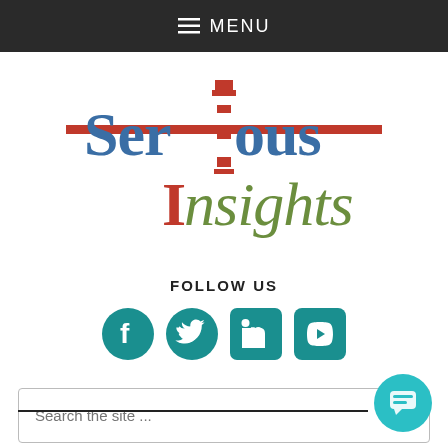≡ MENU
[Figure (logo): Serious Insights logo with lighthouse graphic, red horizontal line, blue and red text for 'Serious' and olive/green text for 'insights']
FOLLOW US
[Figure (infographic): Social media icons: Facebook, Twitter, LinkedIn, YouTube — all in teal color]
Search the site ...